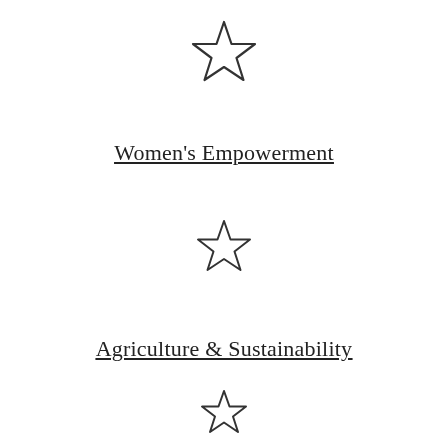[Figure (illustration): An outlined star icon, medium size, at the top center of the page]
Women's Empowerment
[Figure (illustration): An outlined star icon, medium size, in the middle center of the page]
Agriculture & Sustainability
[Figure (illustration): An outlined star icon, smaller size, near the bottom center of the page]